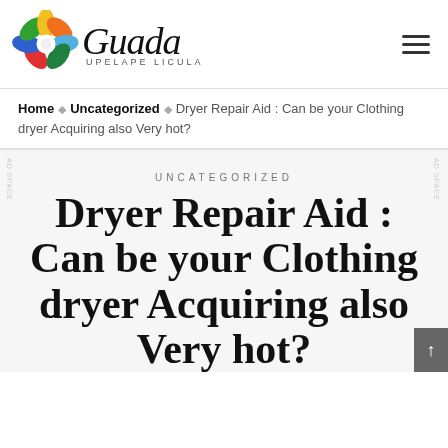[Figure (logo): Guada Upelape Licula logo with colorful flower and script text]
Home • Uncategorized • Dryer Repair Aid : Can be your Clothing dryer Acquiring also Very hot?
UNCATEGORIZED
Dryer Repair Aid : Can be your Clothing dryer Acquiring also Very hot?